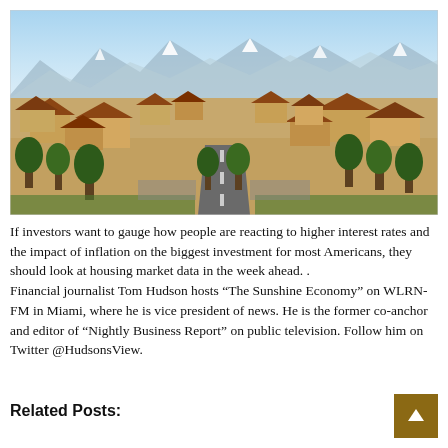[Figure (photo): Aerial view of a suburban residential neighborhood with rows of houses with terracotta/brown roofs, green trees, roads, and snow-capped mountains visible in the background under a blue sky.]
If investors want to gauge how people are reacting to higher interest rates and the impact of inflation on the biggest investment for most Americans, they should look at housing market data in the week ahead. . Financial journalist Tom Hudson hosts “The Sunshine Economy” on WLRN-FM in Miami, where he is vice president of news. He is the former co-anchor and editor of “Nightly Business Report” on public television. Follow him on Twitter @HudsonsView.
Related Posts: